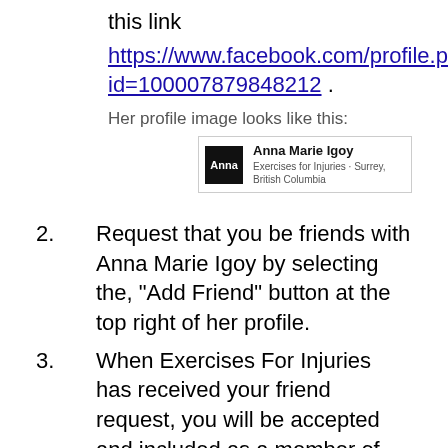this link
https://www.facebook.com/profile.php?id=100007879848212 .
Her profile image looks like this:
[Figure (screenshot): Facebook profile card showing Anna Marie Igoy, Exercises for Injuries, Surrey, British Columbia]
2. Request that you be friends with Anna Marie Igoy by selecting the, "Add Friend" button at the top right of her profile.
3. When Exercises For Injuries has received your friend request, you will be accepted and included as a member of the Exercises For Injuries Secret Facebook group.